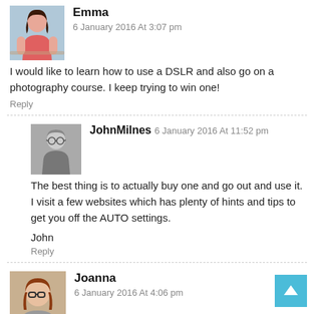[Figure (photo): Avatar photo of Emma - woman in pink top]
Emma
6 January 2016 At 3:07 pm
I would like to learn how to use a DSLR and also go on a photography course. I keep trying to win one!
Reply
[Figure (photo): Avatar photo of JohnMilnes - man in black and white photo]
JohnMilnes 6 January 2016 At 11:52 pm
The best thing is to actually buy one and go out and use it. I visit a few websites which has plenty of hints and tips to get you off the AUTO settings.
John
Reply
[Figure (photo): Avatar photo of Joanna - woman with glasses]
Joanna
6 January 2016 At 4:06 pm
I like the look of this camera I have a cannon which is